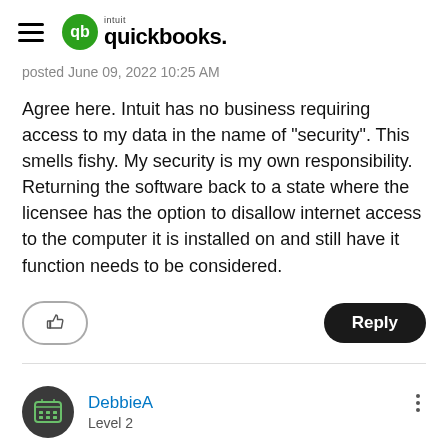intuit quickbooks
posted June 09, 2022 10:25 AM
Agree here. Intuit has no business requiring access to my data in the name of "security". This smells fishy. My security is my own responsibility. Returning the software back to a state where the licensee has the option to disallow internet access to the computer it is installed on and still have it function needs to be considered.
[Figure (illustration): Like (thumbs up) button with rounded rectangle border, and Reply button with dark rounded rectangle background]
DebbieA
Level 2